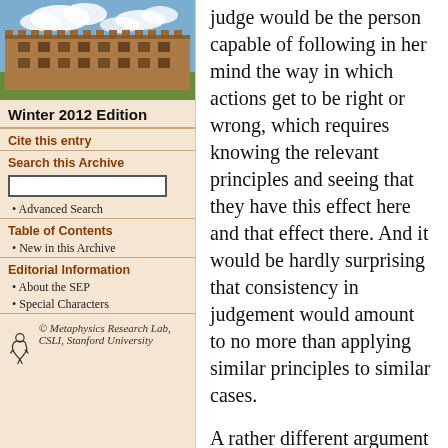[Figure (photo): Photo of a university building (stone Gothic architecture) with blue sky and clouds]
Winter 2012 Edition
Cite this entry
Search this Archive
• Advanced Search
Table of Contents
• New in this Archive
Editorial Information
• About the SEP
• Special Characters
© Metaphysics Research Lab, CSLI, Stanford University
judge would be the person capable of following in her mind the way in which actions get to be right or wrong, which requires knowing the relevant principles and seeing that they have this effect here and that effect there. And it would be hardly surprising that consistency in judgement would amount to no more than applying similar principles to similar cases.
A rather different argument appeals not so much to a metaphysical need for principles as to an epistemological need. If there is a distinction between right and